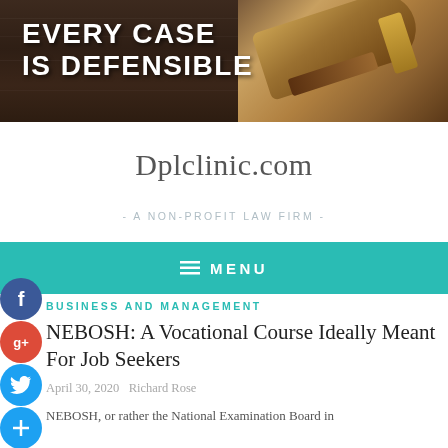[Figure (illustration): Dark wood texture banner with white bold text 'EVERY CASE IS DEFENSIBLE' on the left and a golden/brown gavel on the right]
Dplclinic.com
- A NON-PROFIT LAW FIRM -
≡ MENU
BUSINESS AND MANAGEMENT
NEBOSH: A Vocational Course Ideally Meant For Job Seekers
April 30, 2020   Richard Rose
NEBOSH, or rather the National Examination Board in